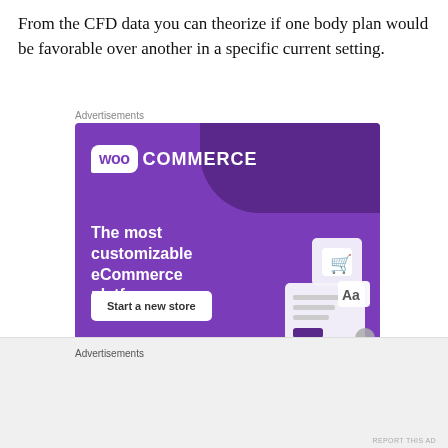From the CFD data you can theorize if one body plan would be favorable over another in a specific current setting.
[Figure (other): WooCommerce advertisement banner with purple background, WooCommerce logo, tagline 'The most customizable eCommerce platform', and 'Start a new store' button with ecommerce UI illustration]
Advertisements
Advertisements